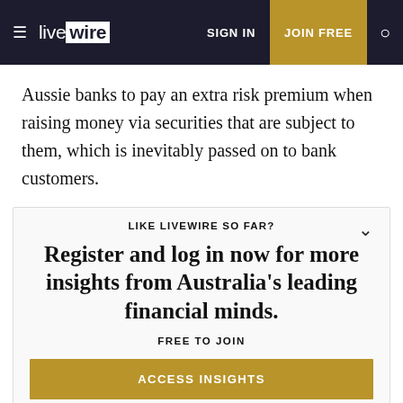live wire | SIGN IN | JOIN FREE
Aussie banks to pay an extra risk premium when raising money via securities that are subject to them, which is inevitably passed on to bank customers.
[Figure (infographic): Livewire promotional registration box with text: LIKE LIVEWIRE SO FAR? Register and log in now for more insights from Australia's leading financial minds. FREE TO JOIN. ACCESS INSIGHTS button.]
lowest cost and most liquid manner possible. Trying